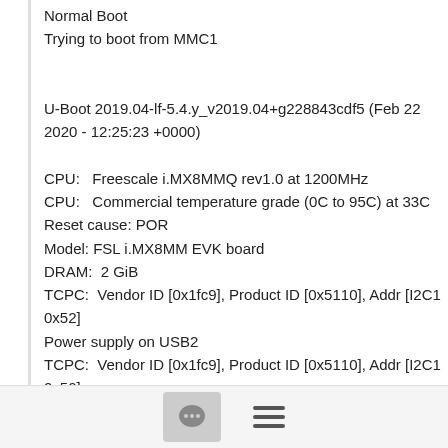Normal Boot
Trying to boot from MMC1

U-Boot 2019.04-lf-5.4.y_v2019.04+g228843cdf5 (Feb 22 2020 - 12:25:23 +0000)

CPU:   Freescale i.MX8MMQ rev1.0 at 1200MHz
CPU:   Commercial temperature grade (0C to 95C) at 33C
Reset cause: POR
Model: FSL i.MX8MM EVK board
DRAM:  2 GiB
TCPC:  Vendor ID [0x1fc9], Product ID [0x5110], Addr [I2C1 0x52]
Power supply on USB2
TCPC:  Vendor ID [0x1fc9], Product ID [0x5110], Addr [I2C1 0x50]
MMC:   FSL_SDHC: 1, FSL_SDHC: 2
Loading Environment from MMC... Run CMD11 1.8V switch
chat and menu icons